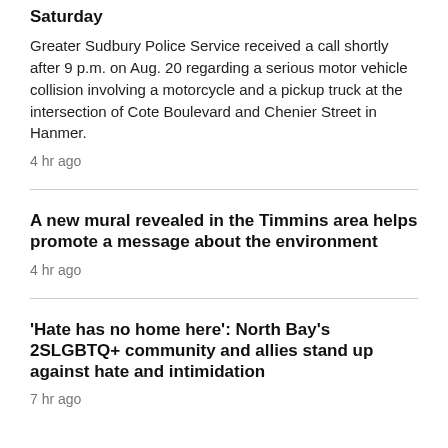Saturday
Greater Sudbury Police Service received a call shortly after 9 p.m. on Aug. 20 regarding a serious motor vehicle collision involving a motorcycle and a pickup truck at the intersection of Cote Boulevard and Chenier Street in Hanmer.
4 hr ago
A new mural revealed in the Timmins area helps promote a message about the environment
4 hr ago
'Hate has no home here': North Bay's 2SLGBTQ+ community and allies stand up against hate and intimidation
7 hr ago